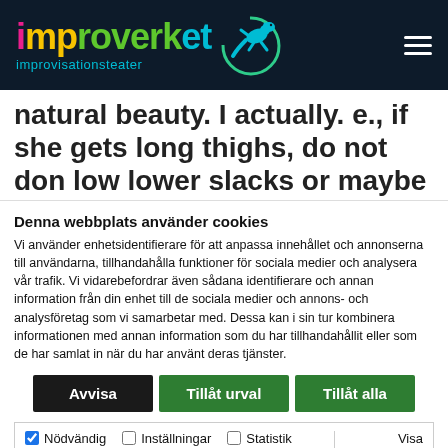[Figure (logo): Improverket improvisationsteater logo with colorful text and teal lizard icon on dark navy background, plus hamburger menu icon]
natural beauty. I actually. e., if she gets long thighs, do not don low lower slacks or maybe a low trim top. Precisely the same goes if she has very
Denna webbplats använder cookies
Vi använder enhetsidentifierare för att anpassa innehållet och annonserna till användarna, tillhandahålla funktioner för sociala medier och analysera vår trafik. Vi vidarebefordrar även sådana identifierare och annan information från din enhet till de sociala medier och annons- och analysföretag som vi samarbetar med. Dessa kan i sin tur kombinera informationen med annan information som du har tillhandahållit eller som de har samlat in när du har använt deras tjänster.
Avvisa | Tillåt urval | Tillåt alla
Nödvändig  Inställningar  Statistik  Marknadsföring  Visa detaljer